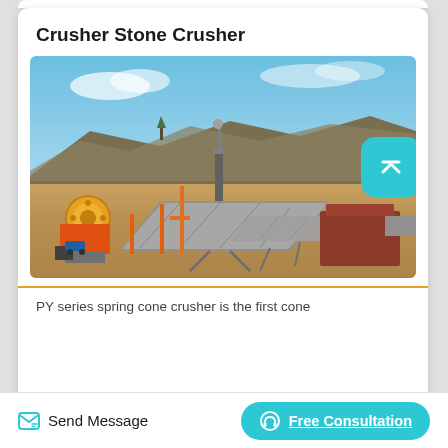Crusher Stone Crusher
[Figure (photo): Aerial/perspective view of a large stone crusher / mining facility with conveyor belts, crushing equipment, and machinery set against mountains and blue sky.]
PY series spring cone crusher is the first cone
Send Message   Free Consultation